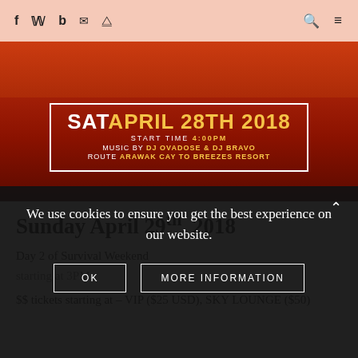Social icons (f, Twitter, b, email, RSS) and search/menu icons
[Figure (photo): Event flyer on red background: SAT APRIL 28TH 2018, START TIME 4:00PM, MUSIC BY DJ OVADOSE & DJ BRAVO, ROUTE ARAWAK CAY TO BREEZES RESORT]
Sunday April 29th, 2018
Day 2 of Survival Weekend
starting at 3PM
$$ tickets starting at – VIP ($25 USD), SKY LOUNGE ($50)
We use cookies to ensure you get the best experience on our website.
OK    MORE INFORMATION